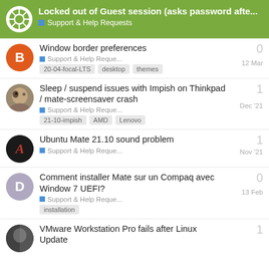Locked out of Guest session (asks password afte... — Support & Help Requests
Window border preferences — Support & Help Reque... — tags: 20-04-focal-LTS, desktop, themes — 12 Mar — replies: 0
Sleep / suspend issues with Impish on Thinkpad / mate-screensaver crash — Support & Help Reque... — tags: 21-10-impish, AMD, Lenovo — Dec '21 — replies: 1
Ubuntu Mate 21.10 sound problem — Support & Help Reque... — Nov '21 — replies: 1
Comment installer Mate sur un Compaq avec Window 7 UEFI? — Support & Help Reque... — tags: installation — 13 Feb — replies: 0
VMware Workstation Pro fails after Linux Update — replies: 1